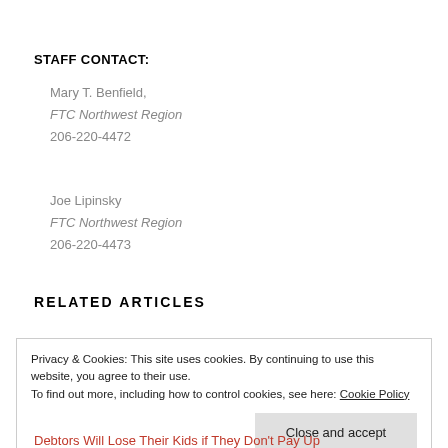STAFF CONTACT:
Mary T. Benfield,
FTC Northwest Region
206-220-4472
Joe Lipinsky
FTC Northwest Region
206-220-4473
RELATED ARTICLES
Privacy & Cookies: This site uses cookies. By continuing to use this website, you agree to their use.
To find out more, including how to control cookies, see here: Cookie Policy
Debtors Will Lose Their Kids if They Don't Pay Up